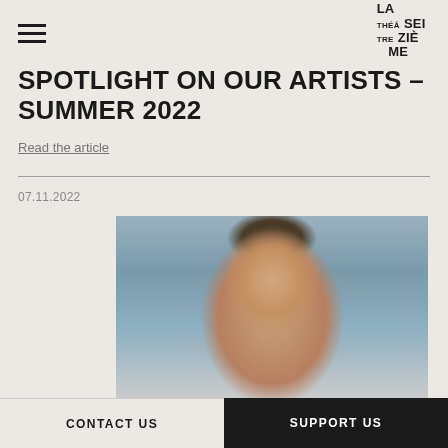LA SEIZIÈME THÉÂTRE
SPOTLIGHT ON OUR ARTISTS – SUMMER 2022
Read the article
07.11.2022
[Figure (photo): Portrait photograph of a middle-aged man with short dark hair and a goatee, looking slightly to the side, blurred architectural background.]
CONTACT US  |  SUPPORT US